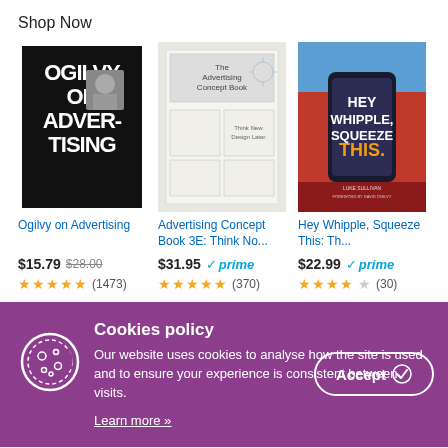Shop Now
[Figure (illustration): Book cover: Ogilvy on Advertising - black and white bold text cover with author photo]
Ogilvy on Advertising
$15.79 $28.00 ★★★★★ (1473)
[Figure (illustration): Book cover: Advertising Concept Book 3E: Think No... - light cover with grid layout]
Advertising Concept Book 3E: Think No...
$31.95 ✓prime ★★★★★ (370)
[Figure (illustration): Book cover: Hey Whipple, Squeeze This: Th... - colorful cover with hand holding phone]
Hey Whipple, Squeeze This: Th...
$22.99 ✓prime ★★★★½ (30)
Cookies policy
Our website uses cookies to analyse how the site is used and to ensure your experience is consistent between visits.
Learn more »
Accept ✓